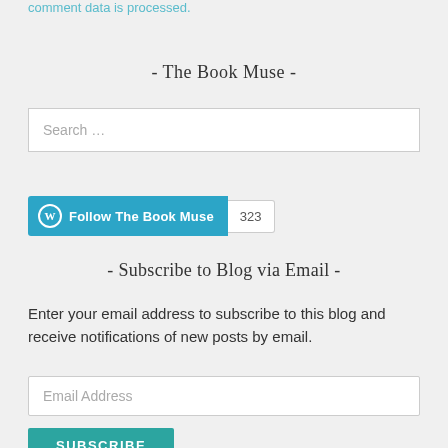comment data is processed.
- The Book Muse -
Search …
Follow The Book Muse  323
- Subscribe to Blog via Email -
Enter your email address to subscribe to this blog and receive notifications of new posts by email.
Email Address
SUBSCRIBE